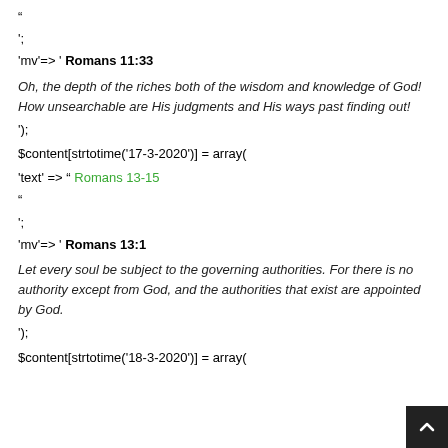“
';
'mv'=> ' Romans 11:33
Oh, the depth of the riches both of the wisdom and knowledge of God! How unsearchable are His judgments and His ways past finding out!
');
$content[strtotime('17-3-2020')] = array(
'text' => “ Romans 13-15
“
';
'mv'=> ' Romans 13:1
Let every soul be subject to the governing authorities. For there is no authority except from God, and the authorities that exist are appointed by God.
');
$content[strtotime('18-3-2020')] = array(